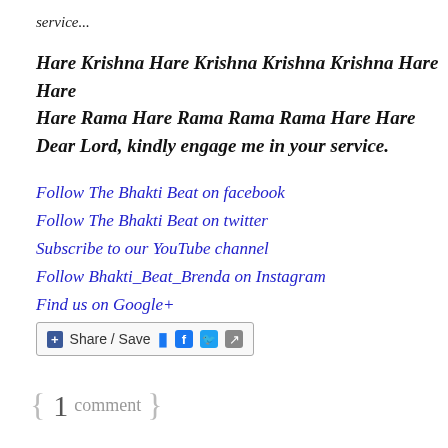service...
Hare Krishna Hare Krishna Krishna Krishna Hare Hare
Hare Rama Hare Rama Rama Rama Hare Hare
Dear Lord, kindly engage me in your service.
Follow The Bhakti Beat on facebook
Follow The Bhakti Beat on twitter
Subscribe to our YouTube channel
Follow Bhakti_Beat_Brenda on Instagram
Find us on Google+
[Figure (other): Share/Save button bar with Facebook, Twitter and share icons]
{ 1 comment }